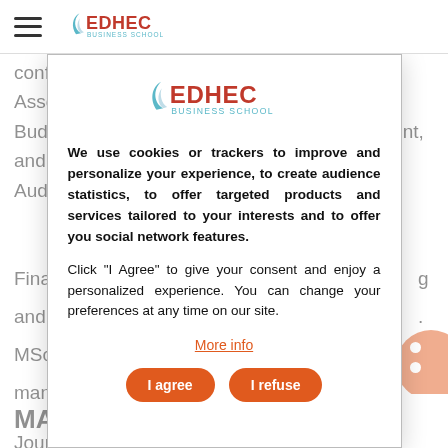EDHEC Business School
conferences. She currently serves as an Associate Editor of the Journal of Public Budgeting, Accounting & Financial Management, and Contrôle Comptabilité Audit -Accounting Audit ... of seve...
[Figure (logo): EDHEC Business School logo in modal dialog]
We use cookies or trackers to improve and personalize your experience, to create audience statistics, to offer targeted products and services tailored to your interests and to offer you social network features.
Click "I Agree" to give your consent and enjoy a personalized experience. You can change your preferences at any time on our site.
More info
I agree  I refuse
Final... and ... g and ... MSc... man...
MA
Jour... Acco...